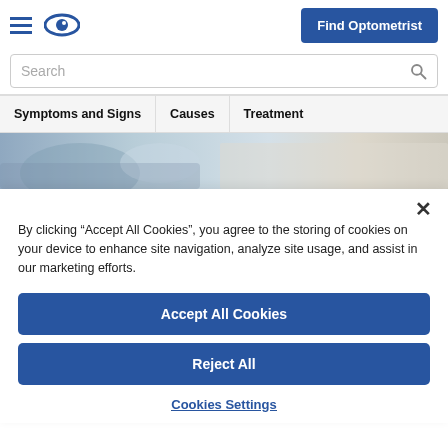Find Optometrist
Search
Symptoms and Signs | Causes | Treatment
[Figure (photo): Partial hero image of a person, blurred background with hands and clothing visible]
By clicking “Accept All Cookies”, you agree to the storing of cookies on your device to enhance site navigation, analyze site usage, and assist in our marketing efforts.
Accept All Cookies
Reject All
Cookies Settings